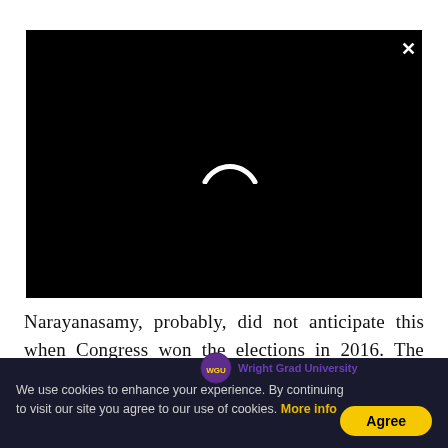[Figure (screenshot): Black video player area with a loading spinner (white arc) in the center and a white X close button in the top right corner]
Narayanasamy, probably, did not anticipate this when Congress won the elections in 2016. The Grand Old Party had secured 15 of the...
We use cookies to enhance your experience. By continuing to visit our site you agree to our use of cookies. More info
Agree